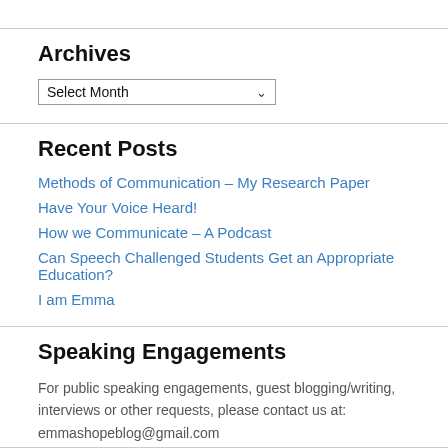Archives
Select Month
Recent Posts
Methods of Communication – My Research Paper
Have Your Voice Heard!
How we Communicate – A Podcast
Can Speech Challenged Students Get an Appropriate Education?
I am Emma
Speaking Engagements
For public speaking engagements, guest blogging/writing, interviews or other requests, please contact us at: emmashopeblog@gmail.com